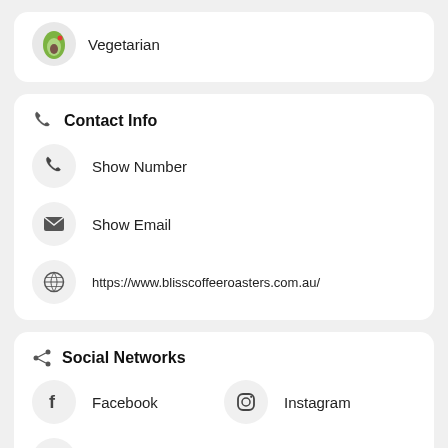[Figure (illustration): Partial top card showing a vegetarian food icon (avocado illustration) with label 'Vegetarian']
Contact Info
Show Number
Show Email
https://www.blisscoffeeroasters.com.au/
Social Networks
Facebook
Instagram
YouTube